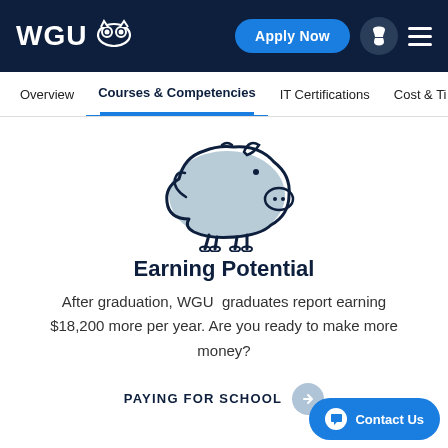WGU
Courses & Competencies
[Figure (illustration): Piggy bank outline illustration with light blue oval body and dark navy outline]
Earning Potential
After graduation, WGU graduates report earning $18,200 more per year. Are you ready to make more money?
PAYING FOR SCHOOL